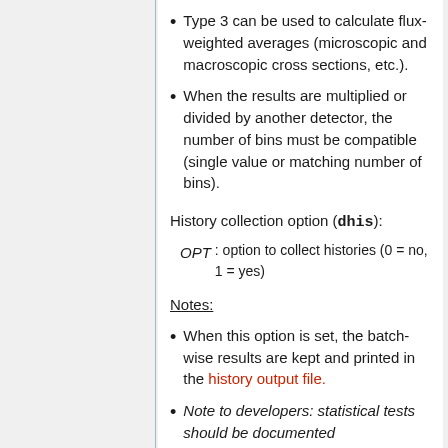Type 3 can be used to calculate flux-weighted averages (microscopic and macroscopic cross sections, etc.).
When the results are multiplied or divided by another detector, the number of bins must be compatible (single value or matching number of bins).
History collection option (dhis):
OPT : option to collect histories (0 = no, 1 = yes)
Notes:
When this option is set, the batch-wise results are kept and printed in the history output file.
Note to developers: statistical tests should be documented